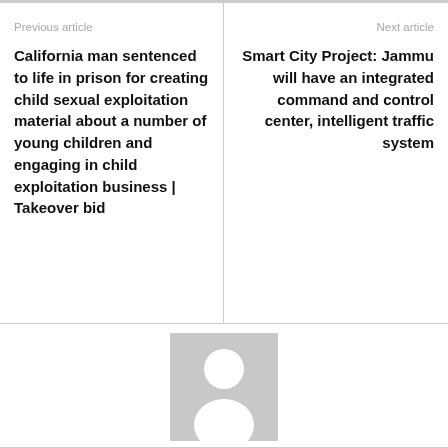Previous article
California man sentenced to life in prison for creating child sexual exploitation material about a number of young children and engaging in child exploitation business | Takeover bid
Next article
Smart City Project: Jammu will have an integrated command and control center, intelligent traffic system
[Figure (illustration): Generic user avatar placeholder image — grey background with a white silhouette of a person (head circle and shoulders)]
John C. Jones
https://gianace.com